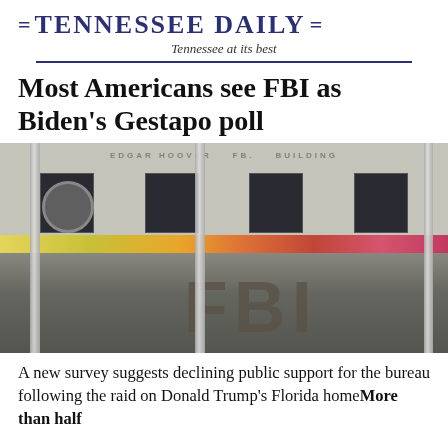= TENNESSEE DAILY = Tennessee at its best
Most Americans see FBI as Biden's Gestapo poll
[Figure (photo): Photograph of the FBI Edgar Hoover Building exterior, viewed through vertical metal rails/bars in foreground. The large 'FBI' letters are visible on a granite/stone surface in the lower portion of the image. Flowers are visible in planters along the building facade.]
A new survey suggests declining public support for the bureau following the raid on Donald Trump's Florida homeMore than half